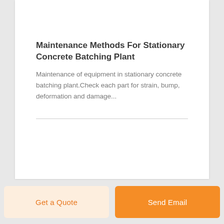Maintenance Methods For Stationary Concrete Batching Plant
Maintenance of equipment in stationary concrete batching plant.Check each part for strain, bump, deformation and damage...